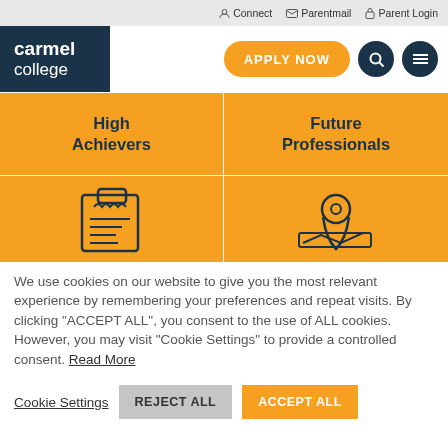Connect  Parentmail  Parent Login
[Figure (logo): Carmel College logo — white text on dark navy background reading 'carmel college']
[Figure (screenshot): Navigation header with APPLY NOW orange button, search icon, and menu icon]
High Achievers
Future Professionals
[Figure (illustration): Orange panel with clipboard/document icon outline in dark navy]
[Figure (illustration): Orange panel with location pin / map icon outline in dark navy]
We use cookies on our website to give you the most relevant experience by remembering your preferences and repeat visits. By clicking "ACCEPT ALL", you consent to the use of ALL cookies. However, you may visit "Cookie Settings" to provide a controlled consent. Read More
Cookie Settings  REJECT ALL  ACCEPT ALL